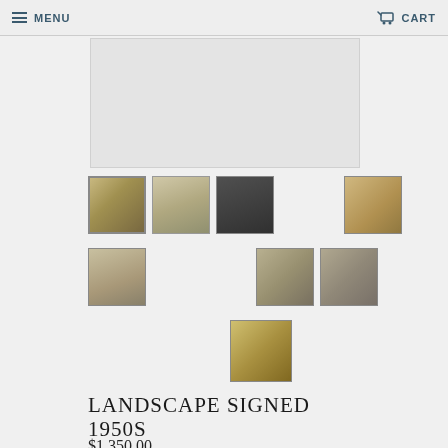MENU  CART
[Figure (photo): Main large image of landscape painting, light grey placeholder]
[Figure (photo): Thumbnail 1: landscape painting in gold frame]
[Figure (photo): Thumbnail 2: street scene painting]
[Figure (photo): Thumbnail 3: person viewing painting on wall in dark gallery]
[Figure (photo): Thumbnail 4: back of canvas/frame]
[Figure (photo): Thumbnail 5: landscape painting in frame]
[Figure (photo): Thumbnail 6: landscape scene]
[Figure (photo): Thumbnail 7: rural/village scene]
[Figure (photo): Thumbnail 8: ornate gold frame corner detail]
LANDSCAPE SIGNED 1950S
$1,350.00